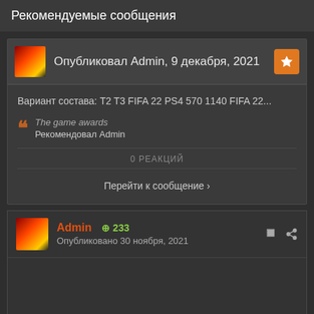Рекомендуемые сообщения
Опубликовал Admin, 9 декабря, 2021
Вариант состава: T2 T3 FIFA 22 PS4 570 1140 FIFA 22...
The game awards
Рекомендовал Admin
0 РЕАКЦИЙ
Перейти к сообщение ›
Admin +233
Опубликовано 30 ноября, 2021
| Вариант состава: | T2 | T3 |
| --- | --- | --- |